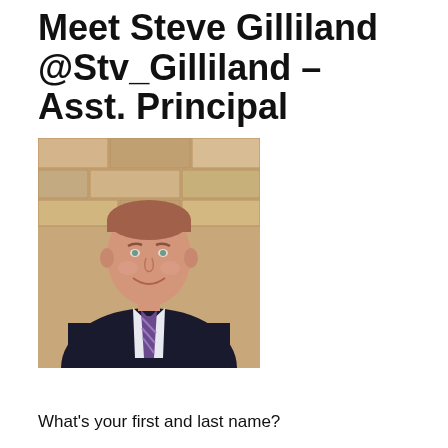Meet Steve Gilliland @Stv_Gilliland – Asst. Principal
[Figure (photo): Professional headshot of a man in a dark suit and purple striped tie, smiling, with a stone wall background]
What's your first and last name?